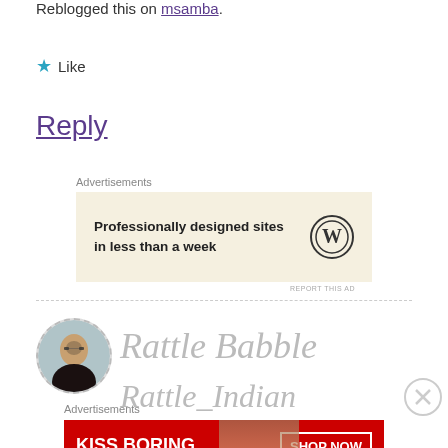Reblogged this on msamba.
★ Like
Reply
Advertisements
[Figure (screenshot): WordPress advertisement: 'Professionally designed sites in less than a week' with WordPress logo on cream background]
REPORT THIS AD
[Figure (photo): Profile avatar image of a person with glasses]
Rattle Babble
Rattle_Indian
Advertisements
[Figure (screenshot): Macy's advertisement: 'KISS BORING LIPS GOODBYE' with SHOP NOW button and Macy's star logo, red background with woman's face]